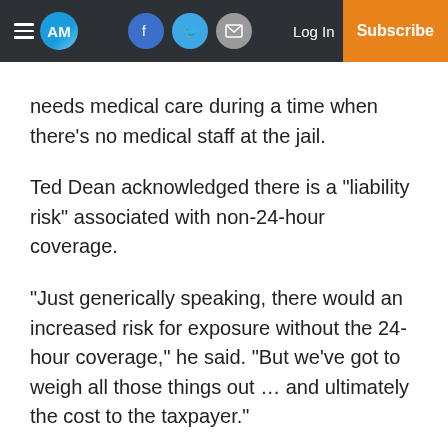AM | Log In | Subscribe
needs medical care during a time when there’s no medical staff at the jail.
Ted Dean acknowledged there is a “liability risk” associated with non-24-hour coverage.
“Just generically speaking, there would an increased risk for exposure without the 24-hour coverage,” he said. “But we’ve got to weigh all those things out … and ultimately the cost to the taxpayer.”
The jail has not had a lawsuit filed against it for lack of care, he noted.